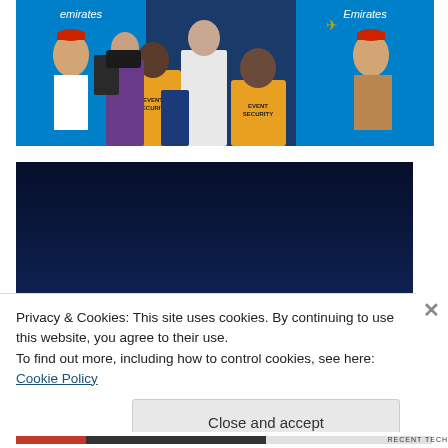[Figure (photo): Group of people at an Emirates-sponsored event. Two women in Emirates airline uniforms with red hats stand on either side. People in yellow 'EVENT SECURITY' shirts are visible in the foreground. A blue Emirates backdrop is visible in the background.]
[Figure (photo): Dark blue background photo showing the top of a man's head, likely a tennis player at a press conference.]
Privacy & Cookies: This site uses cookies. By continuing to use this website, you agree to their use.
To find out more, including how to control cookies, see here: Cookie Policy
Close and accept